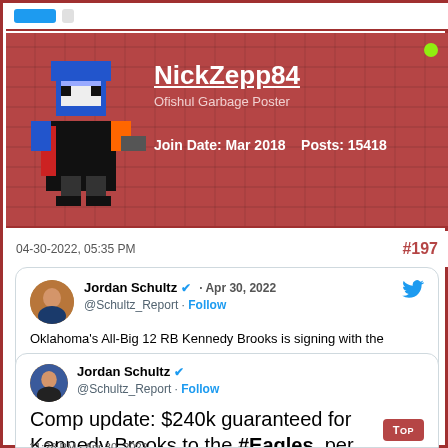[Figure (screenshot): Forum user profile banner for NickZepp84 with pixel art avatar, username, title 'Ofishul Garbage Poster', join date Mar 2018, 15418 posts, on a brick-red background]
04-30-2022, 05:35 PM
#197
[Figure (screenshot): Embedded tweet from Jordan Schultz @Schultz_Report dated Apr 30, 2022: Oklahoma's All-Big 12 RB Kennedy Brooks is signing with the #Eagles as an UDFA, per source.]
[Figure (screenshot): Second embedded tweet from Jordan Schultz @Schultz_Report: Comp update: $240k guaranteed for Kennedy Brooks to the #Eagles, per source. 11:28 PM · Apr 30, 2022]